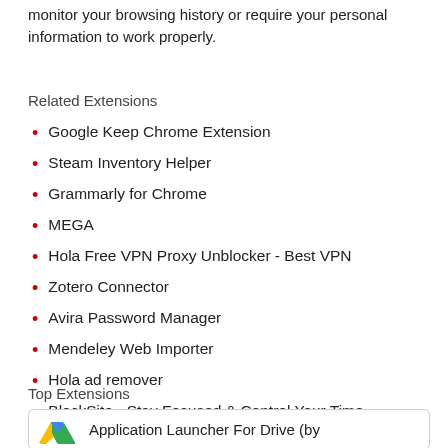monitor your browsing history or require your personal information to work properly.
Related Extensions
Google Keep Chrome Extension
Steam Inventory Helper
Grammarly for Chrome
MEGA
Hola Free VPN Proxy Unblocker - Best VPN
Zotero Connector
Avira Password Manager
Mendeley Web Importer
Hola ad remover
BlockSite - Stay Focused & Control Your Time
Top Extensions
Application Launcher For Drive (by